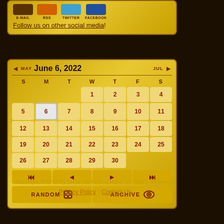[Figure (screenshot): Social media icons: E-MAIL, RSS, TWITTER, FACEBOOK]
Follow us on other social media!
| S | M | T | W | T | F | S |
| --- | --- | --- | --- | --- | --- | --- |
|  |  |  | 1 | 2 | 3 | 4 |
| 5 | 6 | 7 | 8 | 9 | 10 | 11 |
| 12 | 13 | 14 | 15 | 16 | 17 | 18 |
| 19 | 20 | 21 | 22 | 23 | 24 | 25 |
| 26 | 27 | 28 | 29 | 30 |  |  |
Copyright © 2022 by Steve Jackson Games. All Rights Reserved.
Privacy Policy | Contact Us